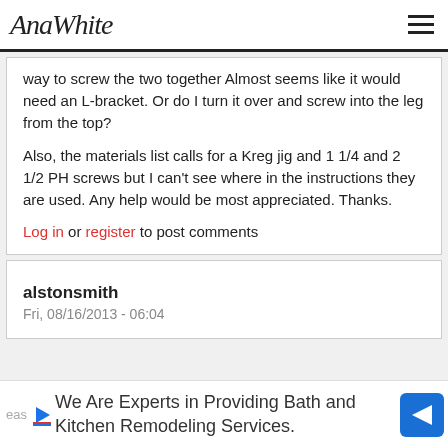AnaWhite
way to screw the two together Almost seems like it would need an L-bracket. Or do I turn it over and screw into the leg from the top?

Also, the materials list calls for a Kreg jig and 1 1/4 and 2 1/2 PH screws but I can't see where in the instructions they are used. Any help would be most appreciated. Thanks.
Log in or register to post comments
alstonsmith
Fri, 08/16/2013 - 06:04
We Are Experts in Providing Bath and Kitchen Remodeling Services.